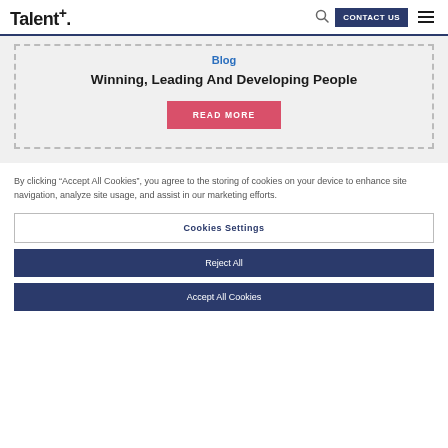Talent+. CONTACT US
Blog
Winning, Leading And Developing People
READ MORE
By clicking “Accept All Cookies”, you agree to the storing of cookies on your device to enhance site navigation, analyze site usage, and assist in our marketing efforts.
Cookies Settings
Reject All
Accept All Cookies